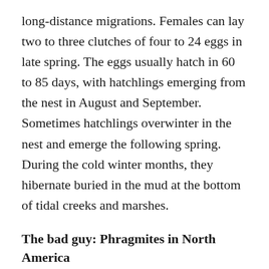long-distance migrations. Females can lay two to three clutches of four to 24 eggs in late spring. The eggs usually hatch in 60 to 85 days, with hatchlings emerging from the nest in August and September. Sometimes hatchlings overwinter in the nest and emerge the following spring. During the cold winter months, they hibernate buried in the mud at the bottom of tidal creeks and marshes.
The bad guy: Phragmites in North America
Of the more than 5,000 invasive plant species embedded in North America's ecosystems, Phragmites (Phragmites australis) is considered to